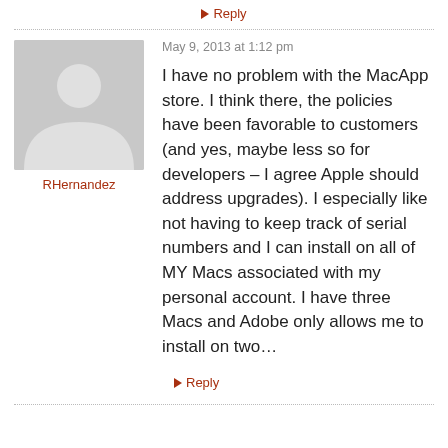↳ Reply
May 9, 2013 at 1:12 pm
[Figure (illustration): Gray avatar silhouette placeholder image]
RHernandez
I have no problem with the MacApp store. I think there, the policies have been favorable to customers (and yes, maybe less so for developers – I agree Apple should address upgrades). I especially like not having to keep track of serial numbers and I can install on all of MY Macs associated with my personal account. I have three Macs and Adobe only allows me to install on two…
↳ Reply